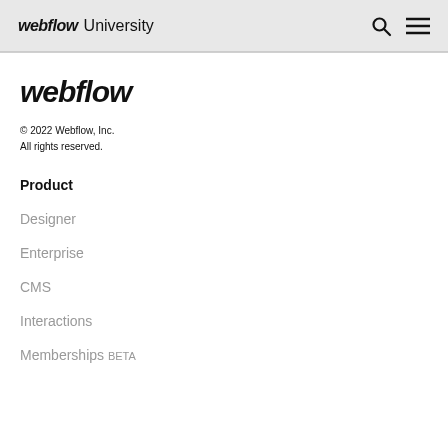webflow University
[Figure (logo): Webflow logo large italic bold]
© 2022 Webflow, Inc.
All rights reserved.
Product
Designer
Enterprise
CMS
Interactions
Memberships  BETA